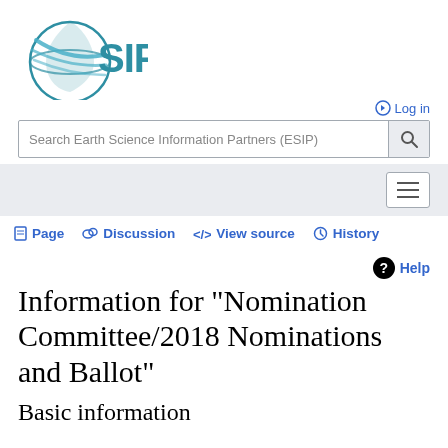[Figure (logo): ESIP (Earth Science Information Partners) logo — teal globe with rings and 'SIP' text]
Log in
Search Earth Science Information Partners (ESIP)
Page  Discussion  </> View source  History
Information for "Nomination Committee/2018 Nominations and Ballot"
Basic information